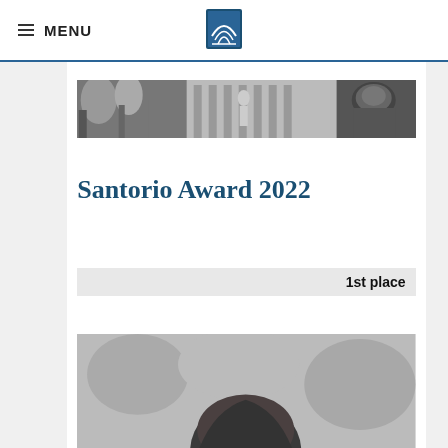MENU
[Figure (photo): Horizontal banner with black and white photos of architectural and sculptural details]
Santorio Award 2022
1st place
[Figure (photo): Black and white photo of a person, partially visible, showing top of head]